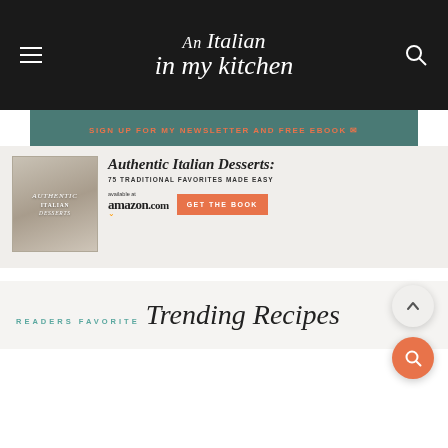An Italian in my kitchen
SIGN UP FOR MY NEWSLETTER AND FREE EBOOK
[Figure (photo): Book cover of Authentic Italian Desserts cookbook]
Authentic Italian Desserts: 75 TRADITIONAL FAVORITES MADE EASY
available at amazon.com
GET THE BOOK
READERS FAVORITE Trending Recipes